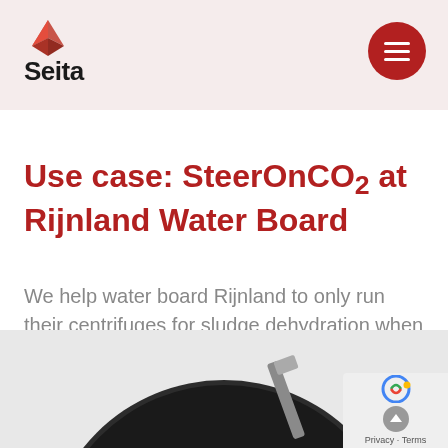[Figure (logo): Seita logo with origami bird above the word 'Seita' in bold black text, on a light pink/beige header bar with a red circular hamburger menu button in the top right corner]
Use case: SteerOnCO₂ at Rijnland Water Board
We help water board Rijnland to only run their centrifuges for sludge dehydration when the CO₂ footprint in the grid is low.
[Figure (photo): Bottom portion of a circular image showing dark sludge/coal material with a shovel or metal implement, partially visible at the bottom of the page]
Privacy · Terms